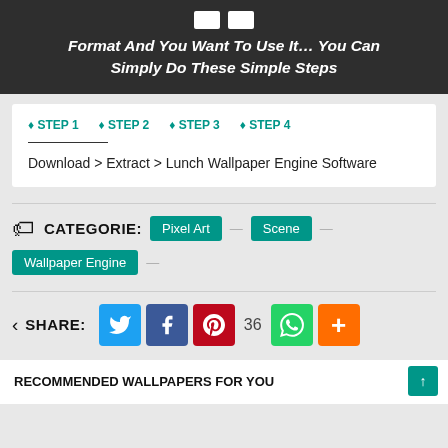Format And You Want To Use It… You Can Simply Do These Simple Steps
STEP 1  STEP 2  STEP 3  STEP 4
Download > Extract > Lunch Wallpaper Engine Software
CATEGORIE: Pixel Art  Scene  Wallpaper Engine
SHARE: 36
RECOMMENDED WALLPAPERS FOR YOU